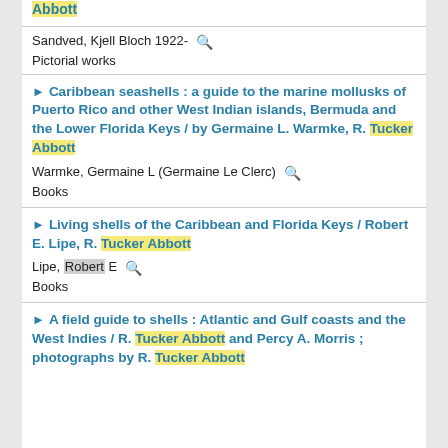Abbott
Sandved, Kjell Bloch 1922-
Pictorial works
Caribbean seashells : a guide to the marine mollusks of Puerto Rico and other West Indian islands, Bermuda and the Lower Florida Keys / by Germaine L. Warmke, R. Tucker Abbott
Warmke, Germaine L (Germaine Le Clerc)
Books
Living shells of the Caribbean and Florida Keys / Robert E. Lipe, R. Tucker Abbott
Lipe, Robert E
Books
A field guide to shells : Atlantic and Gulf coasts and the West Indies / R. Tucker Abbott and Percy A. Morris ; photographs by R. Tucker Abbott